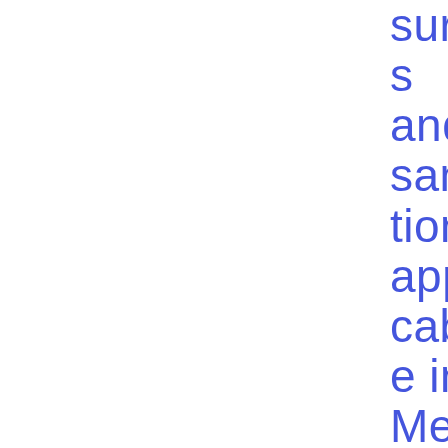sures and sanctions applicable in Member States to infringements of the Short Selling Regu